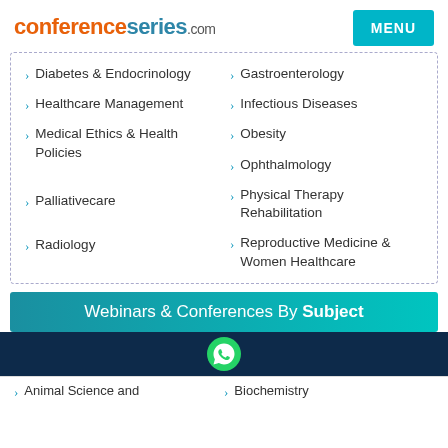conferenceseries.com
Diabetes & Endocrinology
Gastroenterology
Healthcare Management
Infectious Diseases
Medical Ethics & Health Policies
Obesity
Ophthalmology
Palliativecare
Physical Therapy Rehabilitation
Radiology
Reproductive Medicine & Women Healthcare
Webinars & Conferences By Subject
Animal Science and
Biochemistry